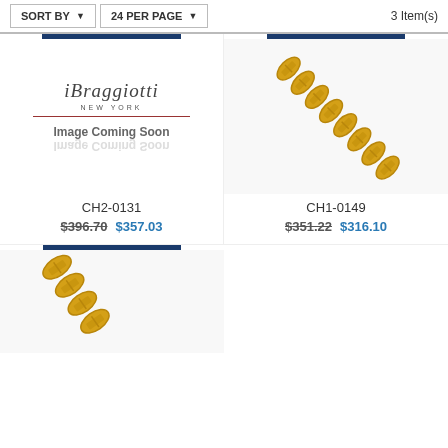SORT BY  ▼    24 PER PAGE  ▼    3 Item(s)
[Figure (photo): iBraggiotti New York placeholder image saying 'Image Coming Soon']
CH2-0131
$396.70  $357.03
[Figure (photo): Gold chain necklace (Mariner/Anchor link style) on white background, product CH1-0149]
CH1-0149
$351.22  $316.10
[Figure (photo): Gold chain necklace (Mariner/Anchor link style) partially visible at bottom of page]